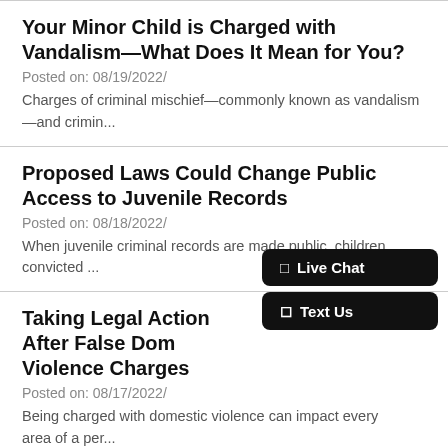Your Minor Child is Charged with Vandalism—What Does It Mean for You?
Posted on: 08/19/2022/
Charges of criminal mischief—commonly known as vandalism—and crimin...
Proposed Laws Could Change Public Access to Juvenile Records
Posted on: 08/18/2022/
When juvenile criminal records are made public, children convicted ...
Taking Legal Action After False Dom Violence Charges
Posted on: 08/17/2022/
Being charged with domestic violence can impact every area of a per...